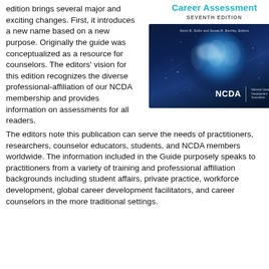edition brings several major and exciting changes. First, it introduces a new name based on a new purpose. Originally the guide was conceptualized as a resource for counselors. The editors' vision for this edition recognizes the diverse professional-affiliation of our NCDA membership and provides information on assessments for all readers.
Career Assessment
SEVENTH EDITION
[Figure (photo): Book cover of Career Assessment Seventh Edition, showing a glowing blue digital globe/world map on a dark navy background, with editors Kevin B. Stoltz and Susan R. Barclay listed, and the NCDA (National Career Development Association) logo in the bottom right corner.]
The editors note this publication can serve the needs of practitioners, researchers, counselor educators, students, and NCDA members worldwide. The information included in the Guide purposely speaks to practitioners from a variety of training and professional affiliation backgrounds including student affairs, private practice, workforce development, global career development facilitators, and career counselors in the more traditional settings.